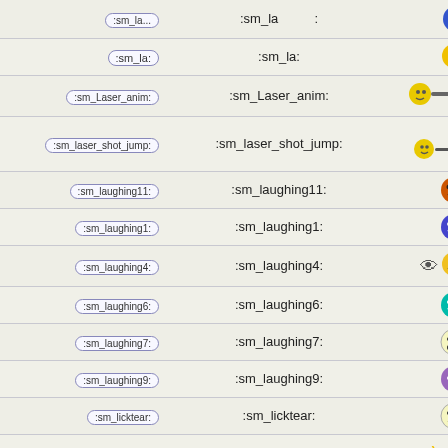| shortcode | text | emoji |
| --- | --- | --- |
| :sm_la: | :sm_la: | 🙃 |
| :sm_Laser_anim: | :sm_Laser_anim: | 🟡➡ |
| :sm_laser_shot_jump: | :sm_laser_shot_jump: | 🟡➡ |
| :sm_laughing11: | :sm_laughing11: | 😠 |
| :sm_laughing1: | :sm_laughing1: | 😄 |
| :sm_laughing4: | :sm_laughing4: | 😊 |
| :sm_laughing6: | :sm_laughing6: | 😁 |
| :sm_laughing7: | :sm_laughing7: | 😁 |
| :sm_laughing9: | :sm_laughing9: | 😐 |
| :sm_licktear: | :sm_licktear: | ☹ |
| :sm_littleangel: | :sm_littleangel: | 😇 |
| :sm_Llol: | :sm_Llol: | 😊 |